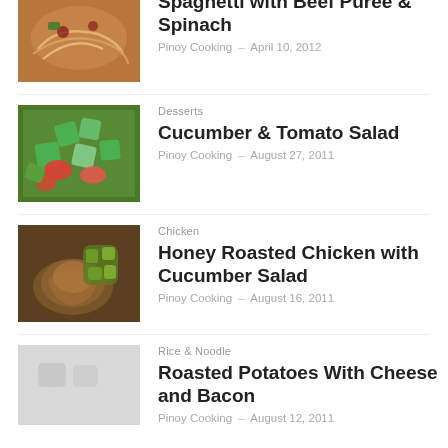[Figure (photo): Spaghetti with beef puree and spinach dish photo]
Spaghetti with Beef Puree & Spinach
Pinoy Cooking – April 10, 2012
Desserts
[Figure (photo): Cucumber and tomato salad photo]
Cucumber & Tomato Salad
Pinoy Cooking – August 27, 2011
Chicken
[Figure (photo): Honey roasted chicken with cucumber salad photo]
Honey Roasted Chicken with Cucumber Salad
Pinoy Cooking – August 16, 2011
Rice & Noodle
[Figure (photo): Roasted potatoes with cheese and bacon photo]
Roasted Potatoes With Cheese and Bacon
Pinoy Cooking – August 12, 2011